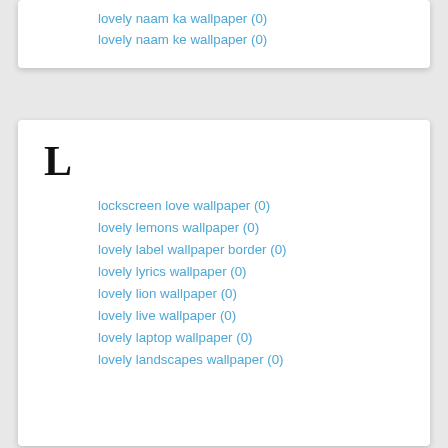lovely naam ka wallpaper (0)
lovely naam ke wallpaper (0)
L
lockscreen love wallpaper (0)
lovely lemons wallpaper (0)
lovely label wallpaper border (0)
lovely lyrics wallpaper (0)
lovely lion wallpaper (0)
lovely live wallpaper (0)
lovely laptop wallpaper (0)
lovely landscapes wallpaper (0)